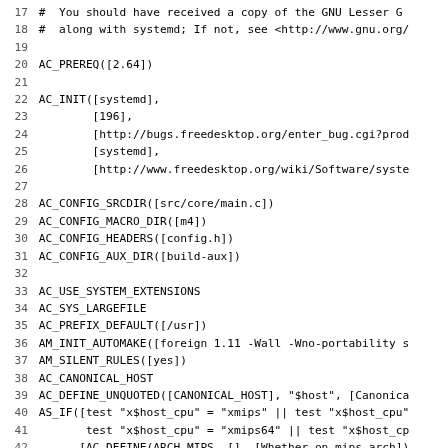Source code listing lines 17-49 of autoconf configure.ac for systemd